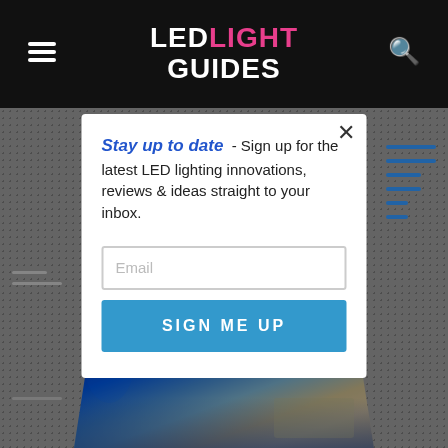LED LIGHT GUIDES
[Figure (screenshot): Website popup modal on LED Light Guides website with newsletter sign-up form. Background shows dotted grey pattern and a photo of a blue LED-lit room/patio at night. Modal contains headline 'Stay up to date', descriptive text, email input field, and 'SIGN ME UP' button.]
Stay up to date  - Sign up for the latest LED lighting innovations, reviews & ideas straight to your inbox.
Email
SIGN ME UP